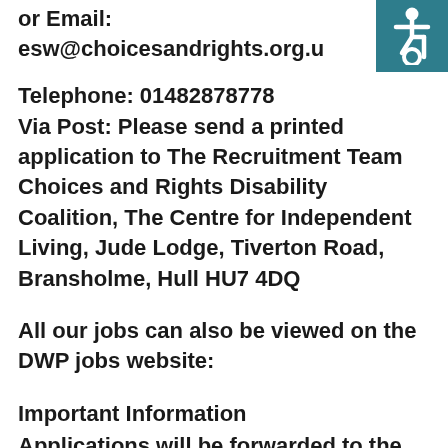or Email: esw@choicesandrights.org.u
[Figure (illustration): Wheelchair accessibility symbol icon on teal/dark cyan background, top right corner]
Telephone: 01482878778
Via Post: Please send a printed application to The Recruitment Team Choices and Rights Disability Coalition, The Centre for Independent Living, Jude Lodge, Tiverton Road, Bransholme, Hull HU7 4DQ
All our jobs can also be viewed on the DWP jobs website:
Important Information
Applications will be forwarded to the disabled person or their representative, they will then choose which candidates